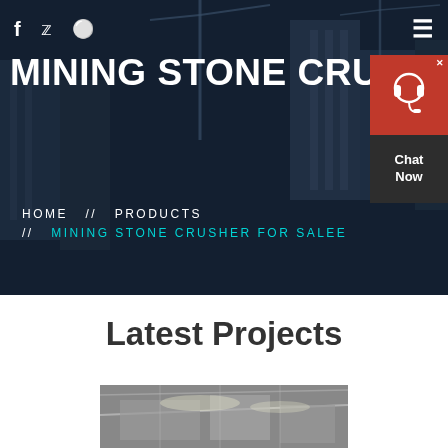[Figure (photo): Hero background photo of construction site with cranes and high-rise buildings under a dark blue overlay]
f  🐦  ⊕  ≡
MINING STONE CRUSHER FOR S
HOME  //  PRODUCTS  //  MINING STONE CRUSHER FOR SALEE
[Figure (infographic): Red chat widget with headset icon and 'Chat Now' text]
Latest Projects
[Figure (photo): Construction/industrial interior photo at the bottom of the page]